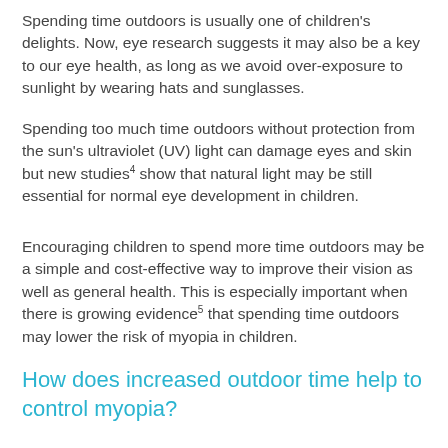Spending time outdoors is usually one of children's delights. Now, eye research suggests it may also be a key to our eye health, as long as we avoid over-exposure to sunlight by wearing hats and sunglasses.
Spending too much time outdoors without protection from the sun's ultraviolet (UV) light can damage eyes and skin but new studies4 show that natural light may be still essential for normal eye development in children.
Encouraging children to spend more time outdoors may be a simple and cost-effective way to improve their vision as well as general health. This is especially important when there is growing evidence5 that spending time outdoors may lower the risk of myopia in children.
How does increased outdoor time help to control myopia?